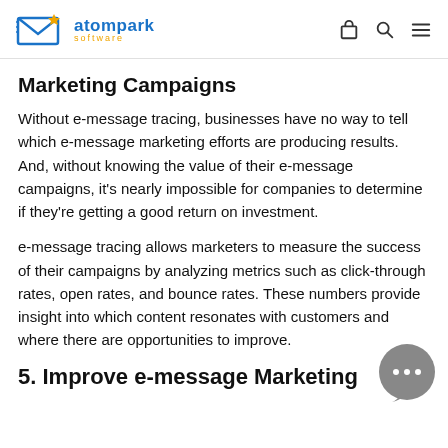atompark software
Marketing Campaigns
Without e-message tracing, businesses have no way to tell which e-message marketing efforts are producing results. And, without knowing the value of their e-message campaigns, it's nearly impossible for companies to determine if they're getting a good return on investment.
e-message tracing allows marketers to measure the success of their campaigns by analyzing metrics such as click-through rates, open rates, and bounce rates. These numbers provide insight into which content resonates with customers and where there are opportunities to improve.
5. Improve e-message Marketing